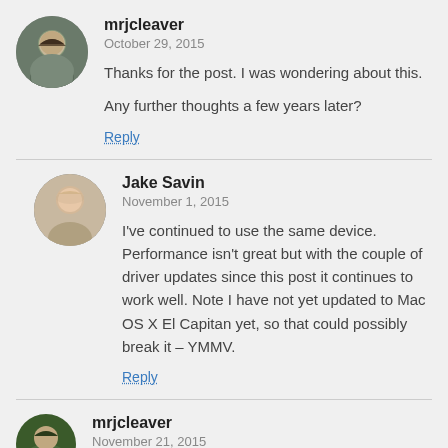[Figure (photo): Avatar photo of mrjcleaver, a man with dark hair]
mrjcleaver
October 29, 2015
Thanks for the post. I was wondering about this.
Any further thoughts a few years later?
Reply
[Figure (photo): Avatar photo of Jake Savin, a bald man]
Jake Savin
November 1, 2015
I've continued to use the same device. Performance isn't great but with the couple of driver updates since this post it continues to work well. Note I have not yet updated to Mac OS X El Capitan yet, so that could possibly break it – YMMV.
Reply
[Figure (photo): Avatar photo of mrjcleaver]
mrjcleaver
November 21, 2015